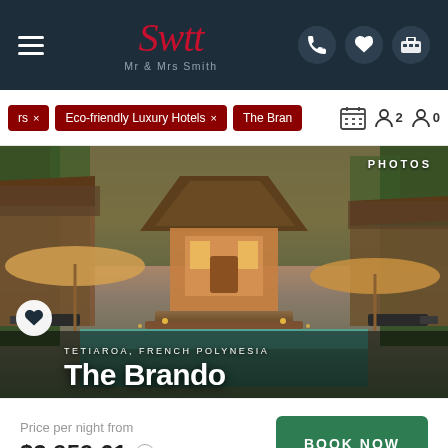[Figure (screenshot): Mr & Mrs Smith hotel booking website header with logo, hamburger menu, and icons]
rs × | Eco-friendly Luxury Hotels × | The Bran | [calendar icon] [person icon] 2 [person icon] 0
[Figure (photo): Luxury overwater/garden villa at The Brando resort in Tetiaroa, French Polynesia. Thatched roof bungalow with pool, palm trees, lounge chairs, and tropical vegetation at dusk.]
PHOTOS
TETIAROA, FRENCH POLYNESIA
The Brando
Price per night from
$2,959.61
BOOK NOW